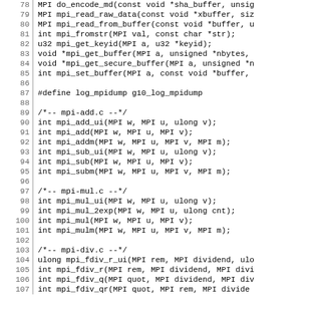Code listing lines 78-107, C header file with MPI function declarations
78  MPI do_encode_md(const void *sha_buffer, unsig
79  MPI mpi_read_raw_data(const void *xbuffer, siz
80  MPI mpi_read_from_buffer(const void *buffer, u
81  int mpi_fromstr(MPI val, const char *str);
82  u32 mpi_get_keyid(MPI a, u32 *keyid);
83  void *mpi_get_buffer(MPI a, unsigned *nbytes,
84  void *mpi_get_secure_buffer(MPI a, unsigned *n
85  int mpi_set_buffer(MPI a, const void *buffer,
86
87  #define log_mpidump g10_log_mpidump
88
89  /*-- mpi-add.c --*/
90  int mpi_add_ui(MPI w, MPI u, ulong v);
91  int mpi_add(MPI w, MPI u, MPI v);
92  int mpi_addm(MPI w, MPI u, MPI v, MPI m);
93  int mpi_sub_ui(MPI w, MPI u, ulong v);
94  int mpi_sub(MPI w, MPI u, MPI v);
95  int mpi_subm(MPI w, MPI u, MPI v, MPI m);
96
97  /*-- mpi-mul.c --*/
98  int mpi_mul_ui(MPI w, MPI u, ulong v);
99  int mpi_mul_2exp(MPI w, MPI u, ulong cnt);
100 int mpi_mul(MPI w, MPI u, MPI v);
101 int mpi_mulm(MPI w, MPI u, MPI v, MPI m);
102
103 /*-- mpi-div.c --*/
104 ulong mpi_fdiv_r_ui(MPI rem, MPI dividend, ulo
105 int mpi_fdiv_r(MPI rem, MPI dividend, MPI divi
106 int mpi_fdiv_q(MPI quot, MPI dividend, MPI div
107 int mpi_fdiv_qr(MPI quot, MPI rem, MPI divide